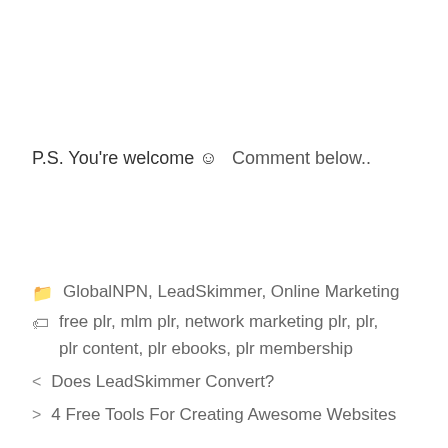P.S. You're welcome ☺
Comment below..
📁 GlobalNPN, LeadSkimmer, Online Marketing
🏷 free plr, mlm plr, network marketing plr, plr, plr content, plr ebooks, plr membership
< Does LeadSkimmer Convert?
> 4 Free Tools For Creating Awesome Websites